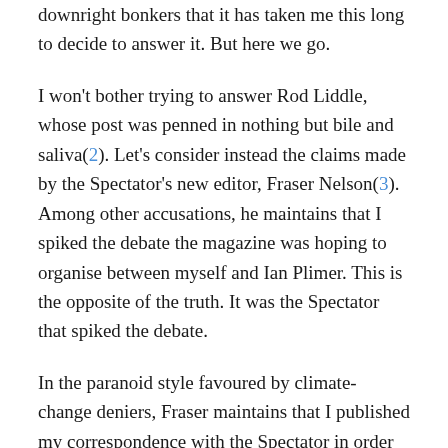downright bonkers that it has taken me this long to decide to answer it. But here we go.
I won’t bother trying to answer Rod Liddle, whose post was penned in nothing but bile and saliva(2). Let’s consider instead the claims made by the Spectator’s new editor, Fraser Nelson(3). Among other accusations, he maintains that I spiked the debate the magazine was hoping to organise between myself and Ian Plimer. This is the opposite of the truth. It was the Spectator that spiked the debate.
In the paranoid style favoured by climate-change deniers, Fraser maintains that I published my correspondence with the Spectator in order to “expose” his predecessor, Matthew d’Ancona. In fact I published it to show how this story developed. In view of Fraser’s misrepresentation of what happened, I’m glad I did. As the emails show, both Plimer and the Spectator accepted my conditions for the debate; in